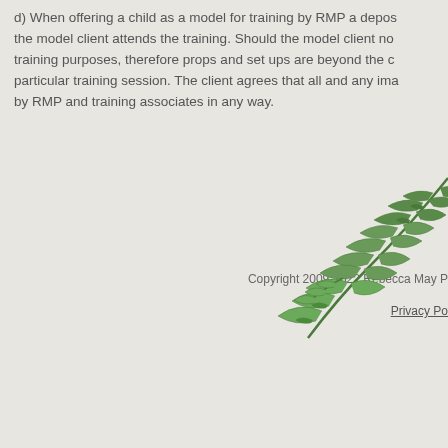d) When offering a child as a model for training by RMP a deposit is required before the model client attends the training. Should the model client not be available for training purposes, therefore props and set ups are beyond the control of RMP for that particular training session. The client agrees that all and any images taken are the property of by RMP and training associates in any way.
Copyright 2009-2022 Rebecca May P
Privacy Po